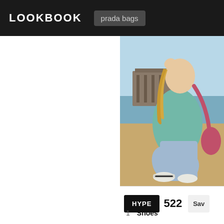LOOKBOOK
prada bags
[Figure (photo): Young woman with blonde braided hair wearing a teal/mint sweatshirt, light blue jeans, and white sneakers, crouching on a sandy beach with a pier/building visible in the background. She carries a pink/red shoulder bag. Golden hour lighting.]
HYPE  522  Sav
1  Shoes